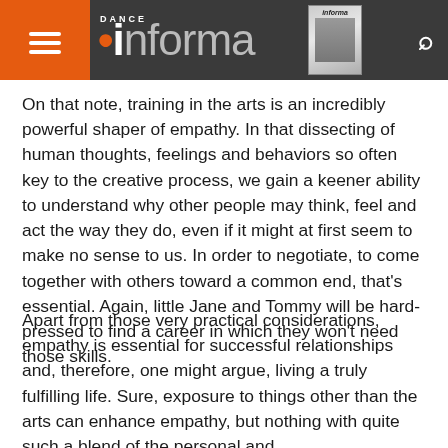Dance Informa
On that note, training in the arts is an incredibly powerful shaper of empathy. In that dissecting of human thoughts, feelings and behaviors so often key to the creative process, we gain a keener ability to understand why other people may think, feel and act the way they do, even if it might at first seem to make no sense to us. In order to negotiate, to come together with others toward a common end, that's essential. Again, little Jane and Tommy will be hard-pressed to find a career in which they won't need those skills.
Apart from those very practical considerations, empathy is essential for successful relationships and, therefore, one might argue, living a truly fulfilling life. Sure, exposure to things other than the arts can enhance empathy, but nothing with quite such a blend of the personal and...